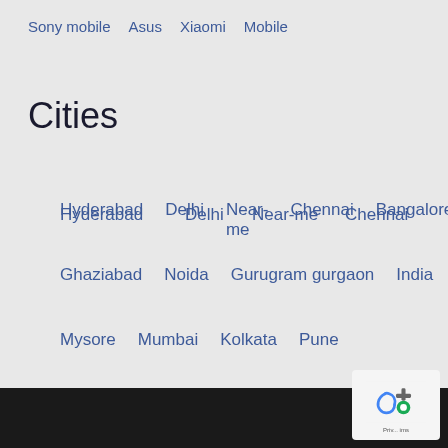Sony mobile   Asus   Xiaomi   Mobile
Cities
Hyderabad
Delhi
Near-me
Chennai
Bangalore
Ghaziabad
Noida
Gurugram gurgaon
India
Mysore
Mumbai
Kolkata
Pune
Places
Mysore
[Figure (logo): reCAPTCHA logo and privacy terms badge in bottom right corner]